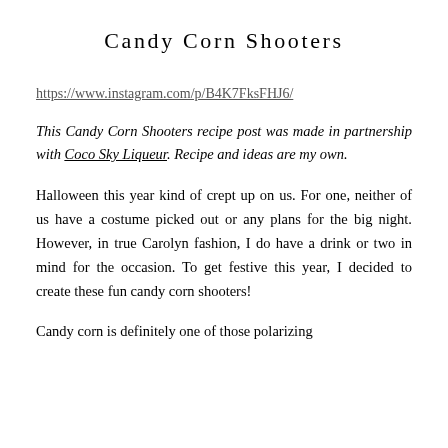Candy Corn Shooters
https://www.instagram.com/p/B4K7FksFHJ6/
This Candy Corn Shooters recipe post was made in partnership with Coco Sky Liqueur. Recipe and ideas are my own.
Halloween this year kind of crept up on us. For one, neither of us have a costume picked out or any plans for the big night. However, in true Carolyn fashion, I do have a drink or two in mind for the occasion. To get festive this year, I decided to create these fun candy corn shooters!
Candy corn is definitely one of those polarizing